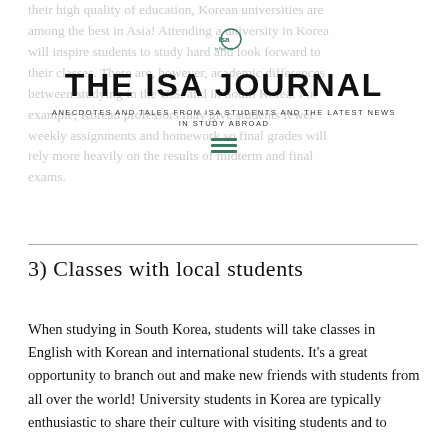their high quality of education, Korean universities are among the best in Asia! Attending a university in Korea will inspire students to study hard and look forward to their classes. There are, however, academic differences between studying in the U.S. and in South Korea. For example, Korean professors may give students fewer weekly assignments and homework so final grades will rely more heavily on the results of midterm and final exams.
THE ISA JOURNAL
ANECDOTES AND TALES FROM ISA STUDENTS AND THE LATEST NEWS IN STUDY ABROAD
3) Classes with local students
When studying in South Korea, students will take classes in English with Korean and international students. It's a great opportunity to branch out and make new friends with students from all over the world! University students in Korea are typically enthusiastic to share their culture with visiting students and to